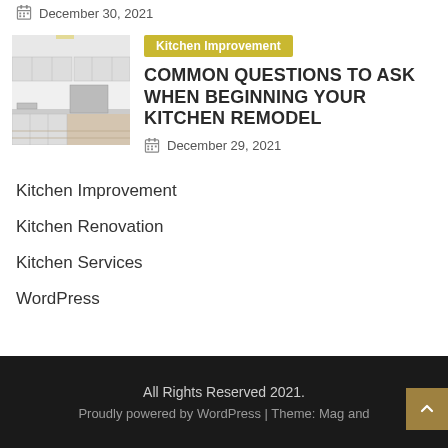December 30, 2021
[Figure (photo): Kitchen interior photo showing white cabinets and appliances]
Kitchen Improvement
COMMON QUESTIONS TO ASK WHEN BEGINNING YOUR KITCHEN REMODEL
December 29, 2021
Kitchen Improvement
Kitchen Renovation
Kitchen Services
WordPress
All Rights Reserved 2021.
Proudly powered by WordPress | Theme: Mag and